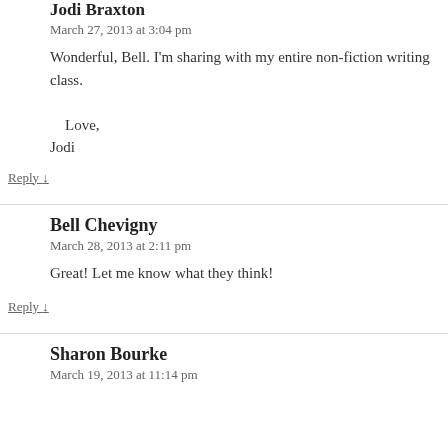Jodi Braxton
March 27, 2013 at 3:04 pm
Wonderful, Bell. I'm sharing with my entire non-fiction writing class.

Love,
Jodi
Reply ↓
Bell Chevigny
March 28, 2013 at 2:11 pm
Great! Let me know what they think!
Reply ↓
Sharon Bourke
March 19, 2013 at 11:14 pm